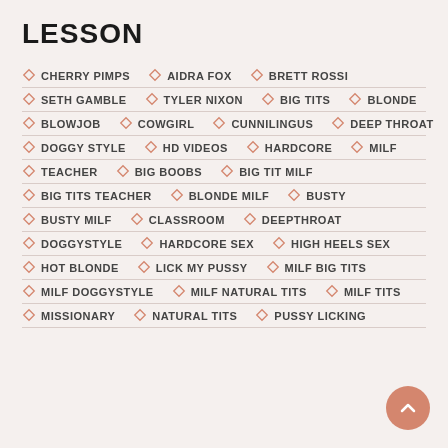LESSON
CHERRY PIMPS
AIDRA FOX
BRETT ROSSI
SETH GAMBLE
TYLER NIXON
BIG TITS
BLONDE
BLOWJOB
COWGIRL
CUNNILINGUS
DEEP THROAT
DOGGY STYLE
HD VIDEOS
HARDCORE
MILF
TEACHER
BIG BOOBS
BIG TIT MILF
BIG TITS TEACHER
BLONDE MILF
BUSTY
BUSTY MILF
CLASSROOM
DEEPTHROAT
DOGGYSTYLE
HARDCORE SEX
HIGH HEELS SEX
HOT BLONDE
LICK MY PUSSY
MILF BIG TITS
MILF DOGGYSTYLE
MILF NATURAL TITS
MILF TITS
MISSIONARY
NATURAL TITS
PUSSY LICKING